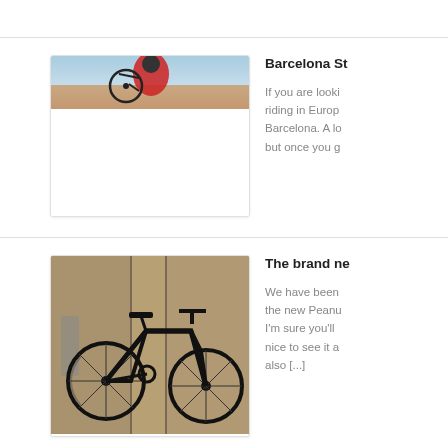[Figure (photo): BMX rider in red jacket doing a trick, upper portion visible with bike wheel, blue sky and rooftop in background]
Barcelona St
If you are looki riding in Europ Barcelona. A lo but once you g
[Figure (photo): Black BMX/street bike photographed in a garage or workshop setting with metal objects in background]
The brand ne
We have been the new Peanu I'm sure you'll nice to see it a also [...]